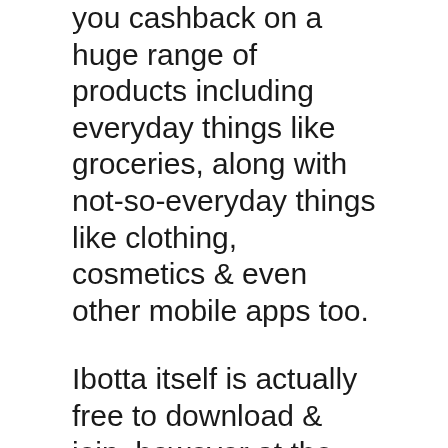you cashback on a huge range of products including everyday things like groceries, along with not-so-everyday things like clothing, cosmetics & even other mobile apps too.
Ibotta itself is actually free to download & join, however at the moment it's sadly only available for people who reside within the USA or Puerto Rico. On the upside, there doesn't seem to be any minimum age requirement for members to join so as far as I'm aware Ibotta is open for all ages, even those under 18.
With Ibotta being a cashback app that means that in order to make money